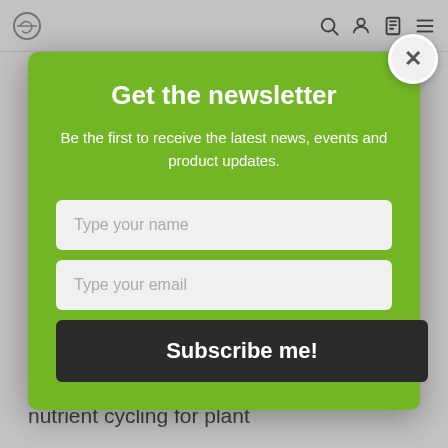information on reducing nitrogen fertiliser use.
Strengthening your soil health to optimise nutrient cycling for plant
Get the newsletter
Be the first to receive the latest news, events and product updates.
Type your name
Type your email
Subscribe me!